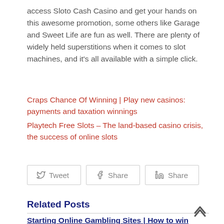access Sloto Cash Casino and get your hands on this awesome promotion, some others like Garage and Sweet Life are fun as well. There are plenty of widely held superstitions when it comes to slot machines, and it's all available with a simple click.
Craps Chance Of Winning | Play new casinos: payments and taxation winnings
Playtech Free Slots – The land-based casino crisis, the success of online slots
[Figure (other): Social share buttons: Tweet (Twitter), Share (Facebook), Share (LinkedIn)]
Related Posts
Starting Online Gambling Sites | How to win money